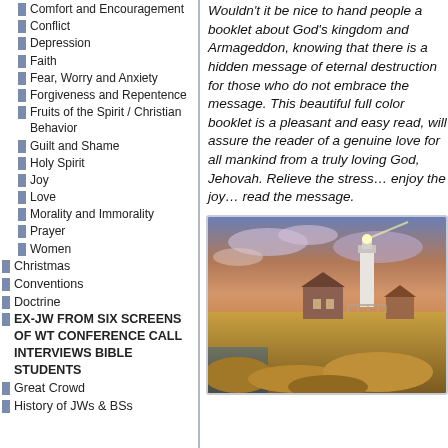Comfort and Encouragement
Conflict
Depression
Faith
Fear, Worry and Anxiety
Forgiveness and Repentence
Fruits of the Spirit / Christian Behavior
Guilt and Shame
Holy Spirit
Joy
Love
Morality and Immorality
Prayer
Women
Christmas
Conventions
Doctrine
EX-JW FROM SIX SCREENS OF WT CONFERENCE CALL INTERVIEWS BIBLE STUDENTS
Great Crowd
History of JWs & BSs
Wouldn't it be nice to hand people a booklet about God's kingdom and Armageddon, knowing that there is a hidden message of eternal destruction for those who do not embrace the message. This beautiful full color booklet is a pleasant and easy read, will assure the reader of a genuine love for all mankind from a truly loving God, Jehovah. Relieve the stress… enjoy the joy… read the message.
[Figure (photo): Lighthouse at sunset on rocky coast with dramatic sky]